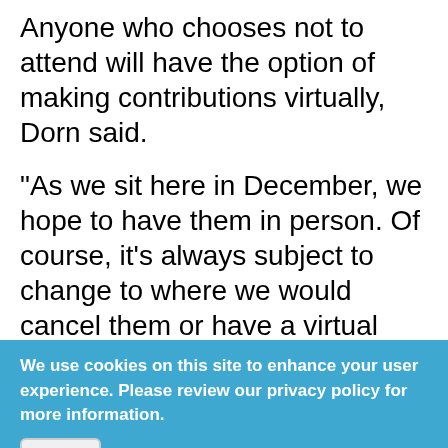Anyone who chooses not to attend will have the option of making contributions virtually, Dorn said.
“As we sit here in December, we hope to have them in person. Of course, it’s always subject to change to where we would cancel them or have a virtual reception,” he said.
Bolding, the top Democrat in the House, told KJZZ it was his understanding the event listing Democrats as honorees would be virtual. Bolding said he would call back to confirm that, but never did.
We use cookies on this site to enhance your user experience. Please review our privacy policy for more information.